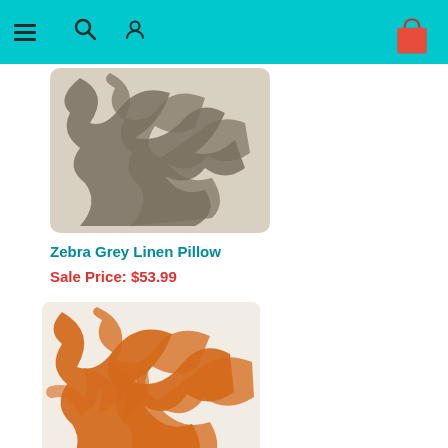Navigation bar with menu, search, user, and cart icons
[Figure (photo): Zebra grey linen pillow with grey and cream zebra stripe pattern, rectangular shape]
Zebra Grey Linen Pillow
Sale Price: $53.99
[Figure (photo): Orange and cream zebra stripe square pillow]